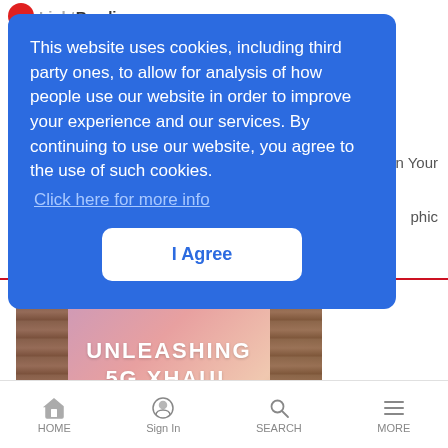LightReading
This website uses cookies, including third party ones, to allow for analysis of how people use our website in order to improve your experience and our services. By continuing to use our website, you agree to the use of such cookies. Click here for more info
I Agree
[Figure (photo): Banner advertisement with wooden pillars on sides and pink/purple gradient background, text reads UNLEASHING 5G XHAUL POTENTIAL]
HOME  Sign In  SEARCH  MORE